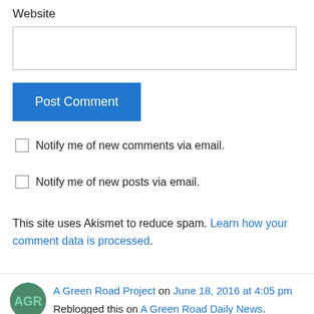Website
[Figure (other): Text input field for Website URL]
Post Comment
Notify me of new comments via email.
Notify me of new posts via email.
This site uses Akismet to reduce spam. Learn how your comment data is processed.
A Green Road Project on June 18, 2016 at 4:05 pm
Reblogged this on A Green Road Daily News.
Liked by 1 person